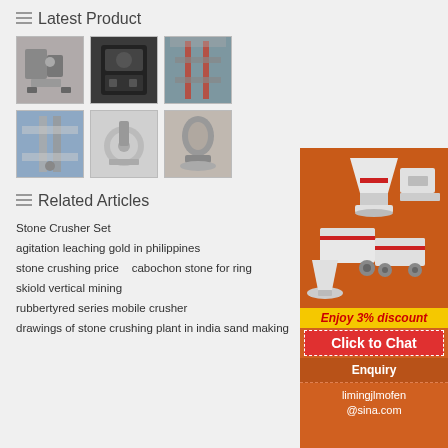Latest Product
[Figure (photo): Grid of 6 industrial machinery product thumbnail photos including crushers, mills, and factory equipment]
Related Articles
Stone Crusher Set
agitation leaching gold in philippines
stone crushing price   cabochon stone for ring
skiold vertical mining
rubbertyred series mobile crusher
drawings of stone crushing plant in india sand making
[Figure (illustration): Orange advertisement banner showing industrial crushing machinery with text: Enjoy 3% discount, Click to Chat, Enquiry, limingjlmofen@sina.com]